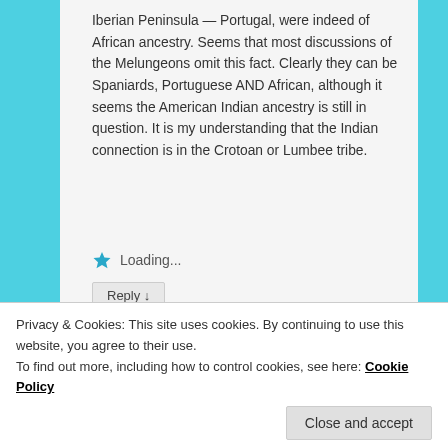Iberian Peninsula — Portugal, were indeed of African ancestry. Seems that most discussions of the Melungeons omit this fact. Clearly they can be Spaniards, Portuguese AND African, although it seems the American Indian ancestry is still in question. It is my understanding that the Indian connection is in the Crotoan or Lumbee tribe.
Loading...
Reply ↓
Danyelle Robinson on July 10, 2017 at 2:43 pm said:
Privacy & Cookies: This site uses cookies. By continuing to use this website, you agree to their use. To find out more, including how to control cookies, see here: Cookie Policy
Close and accept
and Weaver families. The head researcher